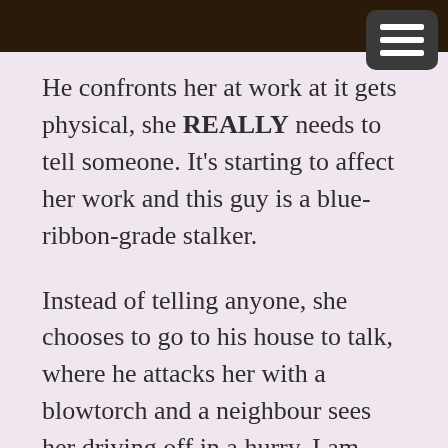[Figure (photo): Dark image bar at top of page]
He confronts her at work at it gets physical, she REALLY needs to tell someone. It's starting to affect her work and this guy is a blue-ribbon-grade stalker.
Instead of telling anyone, she chooses to go to his house to talk, where he attacks her with a blowtorch and a neighbour sees her driving off in a hurry. I am afeared Franky's days of freedom are numbered.